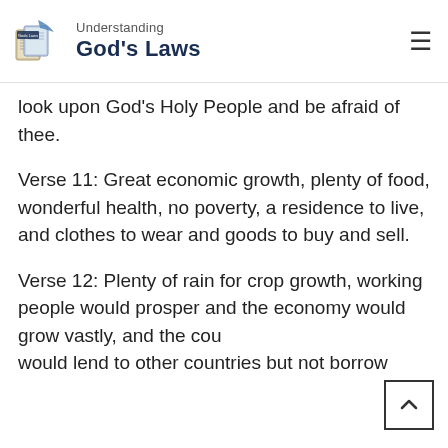[Figure (logo): Understanding God's Laws logo with open book icon and navigation hamburger menu]
look upon God's Holy People and be afraid of thee.
Verse 11: Great economic growth, plenty of food, wonderful health, no poverty, a residence to live, and clothes to wear and goods to buy and sell.
Verse 12: Plenty of rain for crop growth, working people would prosper and the economy would grow vastly, and the country would lend to other countries but not borrow the…(continuing text)